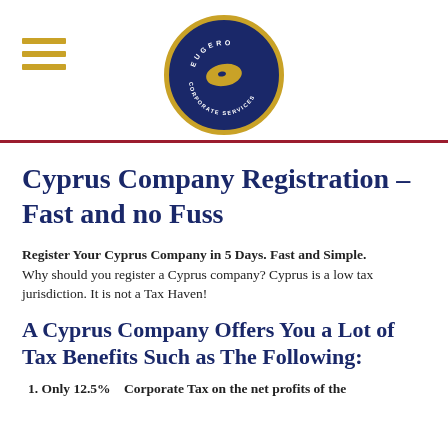[Figure (logo): Eugero Corporate Services circular logo with gold border on dark navy background, featuring a fish/Cyprus island silhouette in gold]
Cyprus Company Registration – Fast and no Fuss
Register Your Cyprus Company in 5 Days. Fast and Simple. Why should you register a Cyprus company? Cyprus is a low tax jurisdiction. It is not a Tax Haven!
A Cyprus Company Offers You a Lot of Tax Benefits Such as The Following:
1. Only 12.5% Corporate Tax on the net profits of the